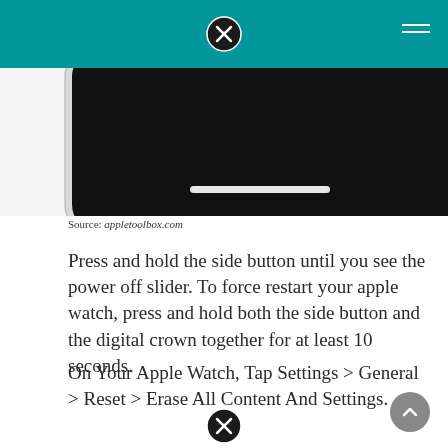[Figure (screenshot): Partial view of iPhone and Apple Watch devices against white background, showing bottom portion of iPhone screen with a white slider bar and partial view of Apple Watch in tan/beige color]
Source: appletoolbox.com
Press and hold the side button until you see the power off slider. To force restart your apple watch, press and hold both the side button and the digital crown together for at least 10 seconds.
On Your Apple Watch, Tap Settings > General > Reset > Erase All Content And Settings.